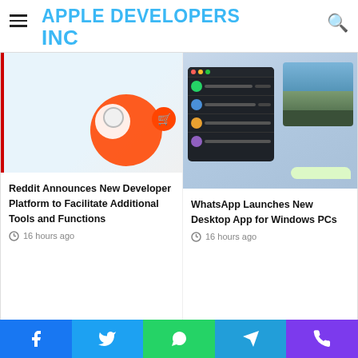APPLE DEVELOPERS INC
[Figure (screenshot): Reddit article thumbnail with red/orange circle logo elements]
Reddit Announces New Developer Platform to Facilitate Additional Tools and Functions
16 hours ago
[Figure (screenshot): WhatsApp desktop app screenshot on macOS landscape background]
WhatsApp Launches New Desktop App for Windows PCs
16 hours ago
Leave a Reply
Facebook Twitter WhatsApp Telegram Viber social share bar